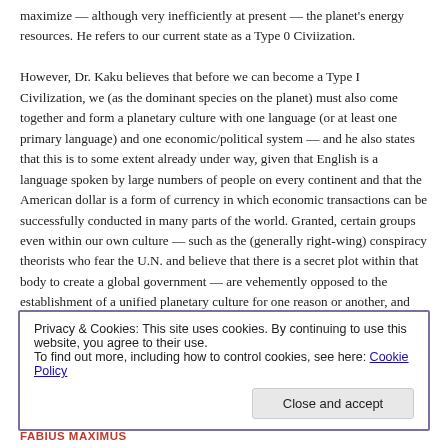maximize — although very inefficiently at present — the planet's energy resources. He refers to our current state as a Type 0 Civilization.

However, Dr. Kaku believes that before we can become a Type I Civilization, we (as the dominant species on the planet) must also come together and form a planetary culture with one language (or at least one primary language) and one economic/political system — and he also states that this is to some extent already under way, given that English is a language spoken by large numbers of people on every continent and that the American dollar is a form of currency in which economic transactions can be successfully conducted in many parts of the world. Granted, certain groups even within our own culture — such as the (generally right-wing) conspiracy theorists who fear the U.N. and believe that there is a secret plot within that body to create a global government — are vehemently opposed to the establishment of a unified planetary culture for one reason or another, and some of those reasons have validity. That being said, Dr. Kaku clearly believes that this is not only necessary but to at least some extent inevitable — and it's difficult to dispute his point that our efforts to literally reach for the stars (assuming we continue to believe that this is something we want to do and can/will do) will not be hampered should we continue in our
Privacy & Cookies: This site uses cookies. By continuing to use this website, you agree to their use.
To find out more, including how to control cookies, see here: Cookie Policy
Close and accept
FABIUS MAXIMUS